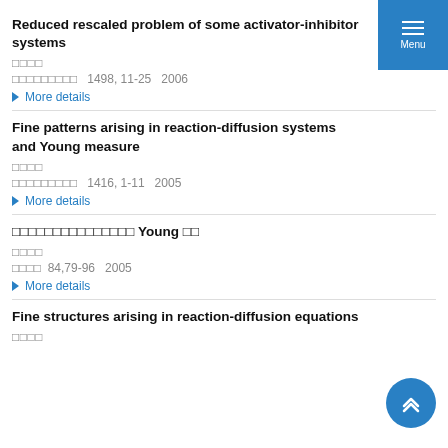Reduced rescaled problem of some activator-inhibitor systems
[author CJK characters]
[journal CJK characters]   1498, 11-25   2006
More details
Fine patterns arising in reaction-diffusion systems and Young measure
[author CJK characters]
[journal CJK characters]   1416, 1-11   2005
More details
[CJK title] Young [CJK]
[author CJK characters]
[journal CJK]   84,79-96   2005
More details
Fine structures arising in reaction-diffusion equations
[author CJK characters]